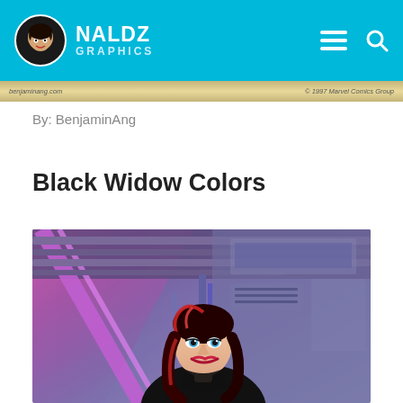NALDZ GRAPHICS
[Figure (screenshot): Partial comic strip image showing benjaminang.com and Marvel Comics Group text]
By: BenjaminAng
Black Widow Colors
[Figure (illustration): Comic art illustration of Black Widow character with red and black hair in a sci-fi corridor with purple and pink lighting, pipes and mechanical walls in background]